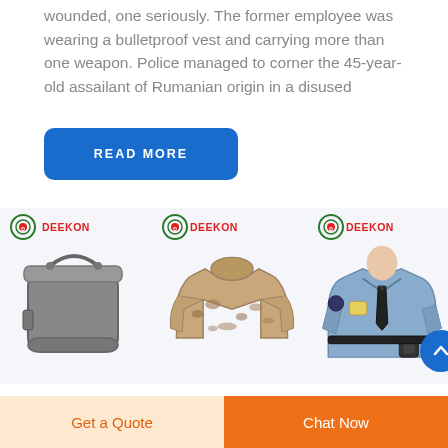wounded, one seriously. The former employee was wearing a bulletproof vest and carrying more than one weapon. Police managed to corner the 45-year-old assailant of Rumanian origin in a disused ...
READ MORE
[Figure (photo): Three product images with DEEKON branding: a military mess tin/canteen, a desert camouflage military jacket, and a police officer uniform shirt with tie and badge.]
Get a Quote
Chat Now